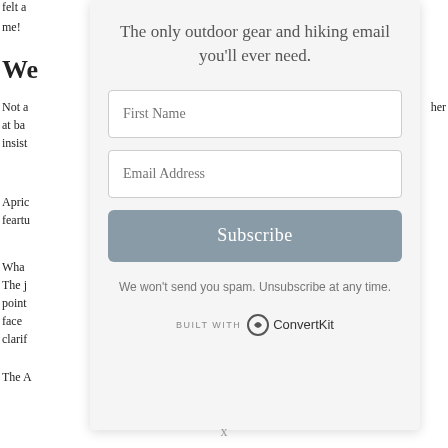felt a
me!
The only outdoor gear and hiking email you'll ever need.
We
Not a
at ba
insist
her
Apric
feartv
Wha
The j
point
face
clarif
The A
We won't send you spam. Unsubscribe at any time.
BUILT WITH ConvertKit